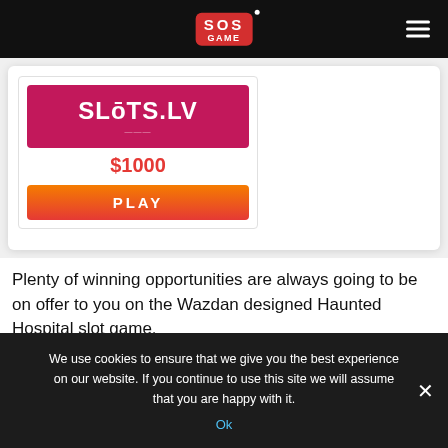SOS GAME (logo) navigation bar with hamburger menu
[Figure (logo): Slots.LV casino card with pink/magenta logo background showing SLOTS.LV text, $1000 bonus amount in red, and orange-red PLAY button]
Plenty of winning opportunities are always going to be on offer to you on the Wazdan designed Haunted Hospital slot game.
We use cookies to ensure that we give you the best experience on our website. If you continue to use this site we will assume that you are happy with it. Ok